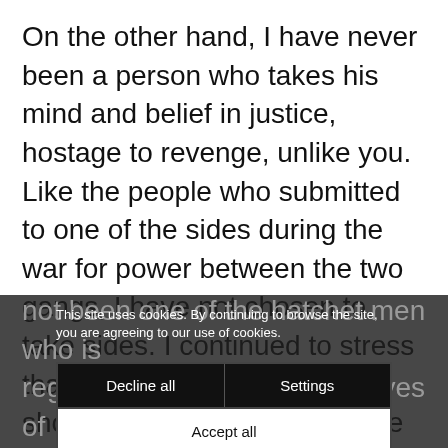On the other hand, I have never been a person who takes his mind and belief in justice, hostage to revenge, unlike you. Like the people who submitted to one of the sides during the war for power between the two gangs, I have not chosen to take sides. I continued to stress that AKP and the Gulen Sect should be tried together for the crimes they committed together. Therefore, I have not been one of the hatchet men who is regarded as... the eyes of the go... shall ...be. So, it is not surprisi... ling here before you.
This site uses cookies. By continuing to browse the site, you are agreeing to our use of cookies.
Decline all
Settings
Accept all